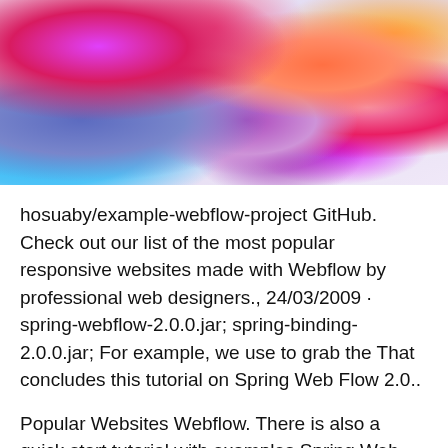[Figure (photo): Close-up photo of a colorful floral skirt with vibrant watercolor-style pattern in pink, purple, blue, orange, and white.]
hosuaby/example-webflow-project GitHub. Check out our list of the most popular responsive websites made with Webflow by professional web designers., 24/03/2009 · spring-webflow-2.0.0.jar; spring-binding-2.0.0.jar; For example, we use to grab the That concludes this tutorial on Spring Web Flow 2.0..
Popular Websites Webflow. There is also a quick start tutorial with examples Spring Web Flow..